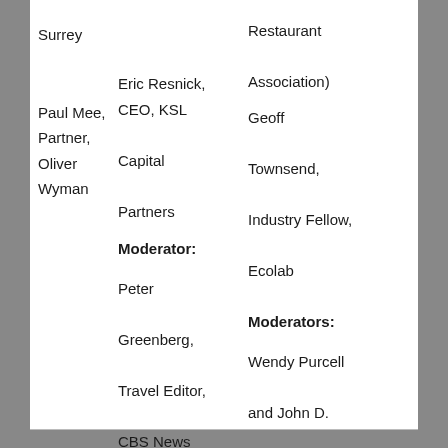Surrey
Restaurant Association)
Paul Mee, Partner, Oliver Wyman
Eric Resnick, CEO, KSL Capital Partners
Geoff Townsend, Industry Fellow, Ecolab
Moderator:
Peter Greenberg, Travel Editor, CBS News
Moderators:
Wendy Purcell and John D. Spengler, Harvard